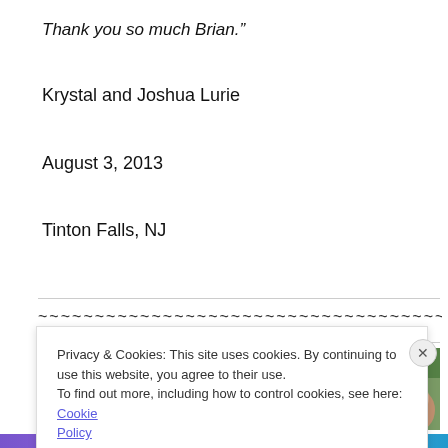Thank you so much Brian."
Krystal and Joshua Lurie
August 3, 2013
Tinton Falls, NJ
~~~~~~~~~~~~~~~~~~~~~~~~~~~~~~~~~~~~~~~~~~~~~~~~~~
[Figure (photo): Partial photo showing several people outdoors with green foliage background]
Privacy & Cookies: This site uses cookies. By continuing to use this website, you agree to their use.
To find out more, including how to control cookies, see here: Cookie Policy
Close and accept